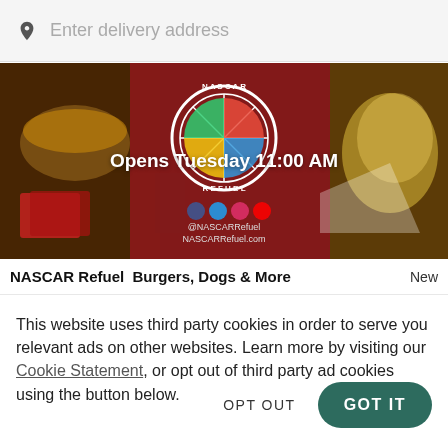Enter delivery address
[Figure (photo): NASCAR Refuel restaurant banner image showing food items and the NASCAR Refuel logo, with text 'Opens Tuesday 11:00 AM']
NASCAR Refuel   Burgers, Dogs & More   New
This website uses third party cookies in order to serve you relevant ads on other websites. Learn more by visiting our Cookie Statement, or opt out of third party ad cookies using the button below.
OPT OUT
GOT IT